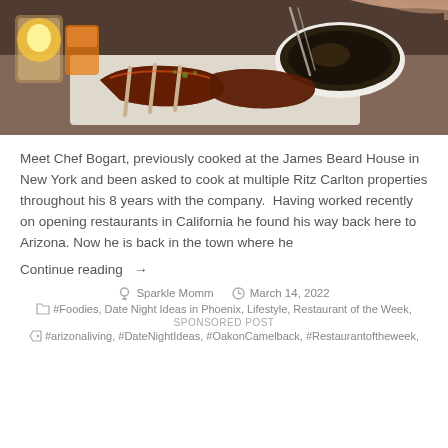[Figure (photo): Restaurant table scene showing glazed ribs/meat on a white cutting board, a bowl of dark food, drinks including a mason jar with candle, hands visible, wooden table surface]
Meet Chef Bogart, previously cooked at the James Beard House in New York and been asked to cook at multiple Ritz Carlton properties throughout his 8 years with the company.  Having worked recently on opening restaurants in California he found his way back here to Arizona. Now he is back in the town where he
Continue reading →
Sparkle Momm   March 14, 2022
#Foodies, Date Night Ideas in Phoenix, Lifestyle, Restaurant of the Week,
SPONSORED POST
#arizonaliving, #DateNightIdeas, #OakonCamelback, #Restaurantoftheweek,